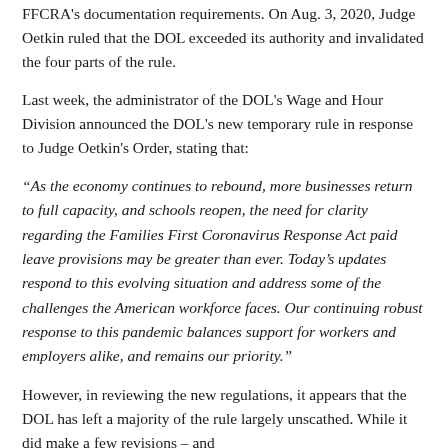FFCRA's documentation requirements. On Aug. 3, 2020, Judge Oetkin ruled that the DOL exceeded its authority and invalidated the four parts of the rule.
Last week, the administrator of the DOL's Wage and Hour Division announced the DOL's new temporary rule in response to Judge Oetkin's Order, stating that:
“As the economy continues to rebound, more businesses return to full capacity, and schools reopen, the need for clarity regarding the Families First Coronavirus Response Act paid leave provisions may be greater than ever. Today’s updates respond to this evolving situation and address some of the challenges the American workforce faces. Our continuing robust response to this pandemic balances support for workers and employers alike, and remains our priority.”
However, in reviewing the new regulations, it appears that the DOL has left a majority of the rule largely unscathed. While it did make a few revisions – and